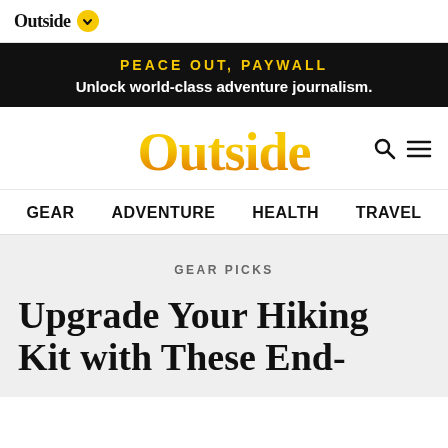Outside
PEACE OUT, PAYWALL
Unlock world-class adventure journalism.
Outside
GEAR  ADVENTURE  HEALTH  TRAVEL
GEAR PICKS
Upgrade Your Hiking Kit with These End-